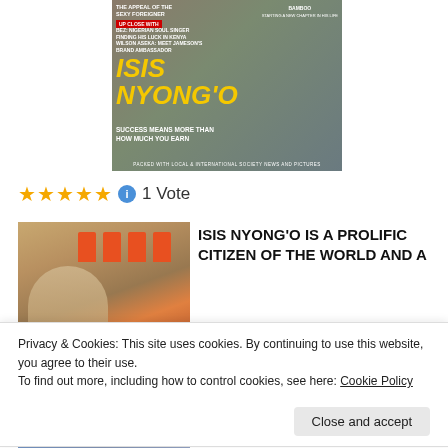[Figure (photo): Magazine cover featuring Isis Nyong'o. Yellow title text 'ISIS NYONG'O' with tagline 'SUCCESS MEANS MORE THAN HOW MUCH YOU EARN'. Includes smaller text about 'THE APPEAL OF THE SEXY FOREIGNER', 'UP CLOSE WITH', 'BEZ NIGERIAN SOUL SINGER FINDING HIS LUCK IN KENYA', 'BAMBOO STARTING A NEW CHAPTER IN HIS LIFE', and footer text 'PACKED WITH LOCAL & INTERNATIONAL SOCIETY NEWS AND PICTURES'.]
★★★★★ ℹ 1 Vote
[Figure (photo): Photo of a smiling woman in front of a building with illuminated red niches/alcoves.]
ISIS NYONG'O IS A PROLIFIC CITIZEN OF THE WORLD AND A
Privacy & Cookies: This site uses cookies. By continuing to use this website, you agree to their use.
To find out more, including how to control cookies, see here: Cookie Policy
Close and accept
[Figure (photo): Partial photo at bottom of page, appears to show a person outdoors.]
up is Forbes, MTV.